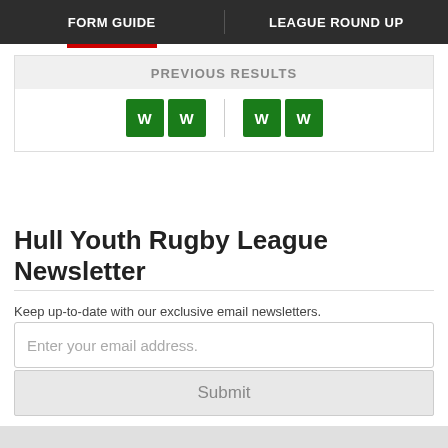FORM GUIDE  |  LEAGUE ROUND UP
PREVIOUS RESULTS
[Figure (infographic): Four green W badges arranged in two groups of two separated by a vertical divider, indicating two wins for each side.]
Hull Youth Rugby League Newsletter
Keep up-to-date with our exclusive email newsletters.
Enter your email address.
Submit